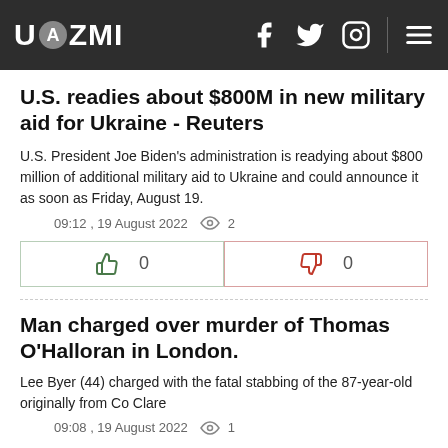UAZMI
U.S. readies about $800M in new military aid for Ukraine - Reuters
U.S. President Joe Biden's administration is readying about $800 million of additional military aid to Ukraine and could announce it as soon as Friday, August 19.
09:12 , 19 August 2022  👁 2
[Figure (other): Like and dislike vote buttons with counts of 0 each]
Man charged over murder of Thomas O'Halloran in London.
Lee Byer (44) charged with the fatal stabbing of the 87-year-old originally from Co Clare
09:08 , 19 August 2022  👁 1